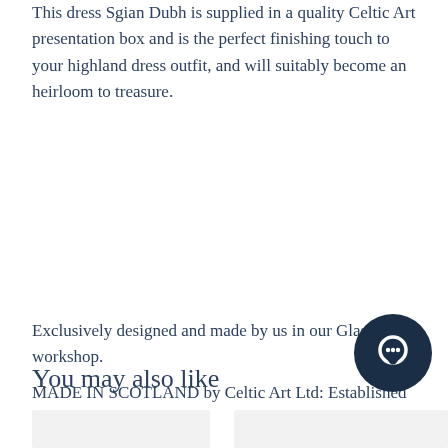This dress Sgian Dubh is supplied in a quality Celtic Art presentation box and is the perfect finishing touch to your highland dress outfit, and will suitably become an heirloom to treasure.
Exclusively designed and made by us in our Glasgow workshop.
MADE IN SCOTLAND by Celtic Art Ltd: Established 1945
You may also like